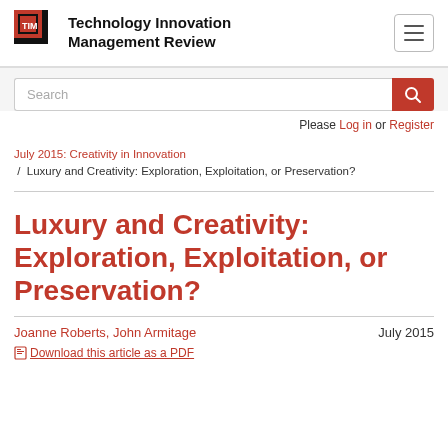Technology Innovation Management Review
Search
Please Log in or Register
July 2015: Creativity in Innovation / Luxury and Creativity: Exploration, Exploitation, or Preservation?
Luxury and Creativity: Exploration, Exploitation, or Preservation?
Joanne Roberts, John Armitage    July 2015
Download this article as a PDF